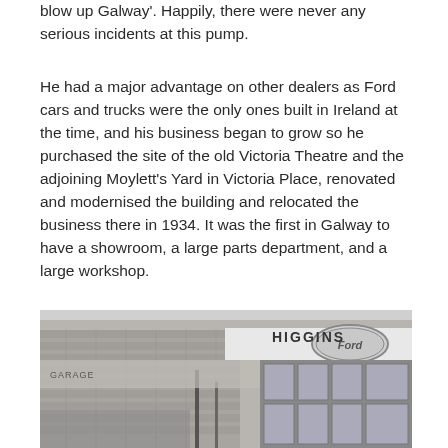blow up Galway'. Happily, there were never any serious incidents at this pump.
He had a major advantage on other dealers as Ford cars and trucks were the only ones built in Ireland at the time, and his business began to grow so he purchased the site of the old Victoria Theatre and the adjoining Moylett's Yard in Victoria Place, renovated and modernised the building and relocated the business there in 1934. It was the first in Galway to have a showroom, a large parts department, and a large workshop.
[Figure (photo): Black and white photograph of the Higgins Ford dealership building exterior, showing signage with 'HIGGINS' vertically and a Ford oval logo, stone facade with large windows.]